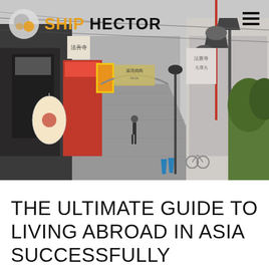[Figure (photo): A Japanese shopping street scene with traditional lanterns, red and white storefronts with Japanese signage, stone paved walkway, street lamps, and lush greenery on right side. A lone figure walks in the distance.]
SHIP HECTOR
THE ULTIMATE GUIDE TO LIVING ABROAD IN ASIA SUCCESSFULLY